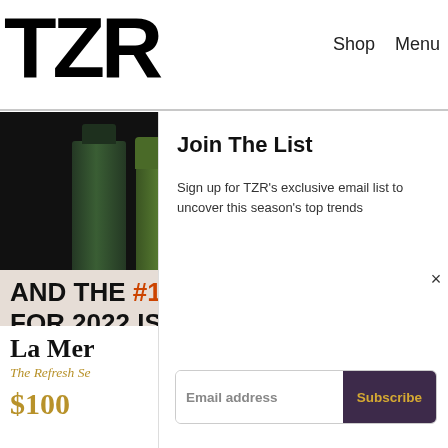TZR  Shop  Menu
[Figure (photo): Dark background product image showing green skincare tubes and white cream jar]
AND THE #1 HAIRCUT FOR 2022 IS...
[Figure (photo): Blonde woman's face looking forward, cropped to head and shoulders]
Join The List
Sign up for TZR's exclusive email list to uncover this season's top trends
Email address  Subscribe
La Mer
The Refresh Se
$100